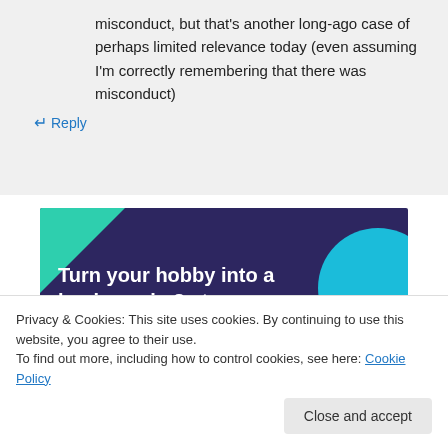misconduct, but that's another long-ago case of perhaps limited relevance today (even assuming I'm correctly remembering that there was misconduct)
↵ Reply
[Figure (illustration): Dark purple banner advertisement with green triangle top-left, blue circle top-right, white bold text reading 'Turn your hobby into a business in 8 steps']
Privacy & Cookies: This site uses cookies. By continuing to use this website, you agree to their use.
To find out more, including how to control cookies, see here: Cookie Policy
Close and accept